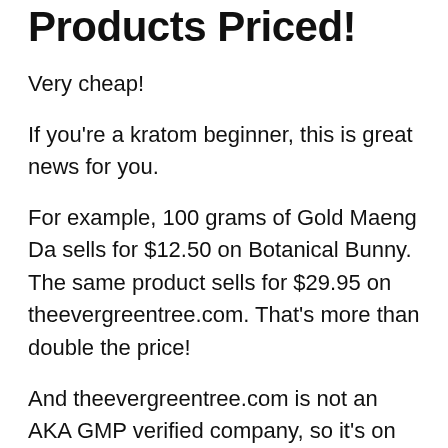Products Priced!
Very cheap!
If you're a kratom beginner, this is great news for you.
For example, 100 grams of Gold Maeng Da sells for $12.50 on Botanical Bunny. The same product sells for $29.95 on theevergreentree.com. That's more than double the price!
And theevergreentree.com is not an AKA GMP verified company, so it's on the same level as Botanical Bunny.